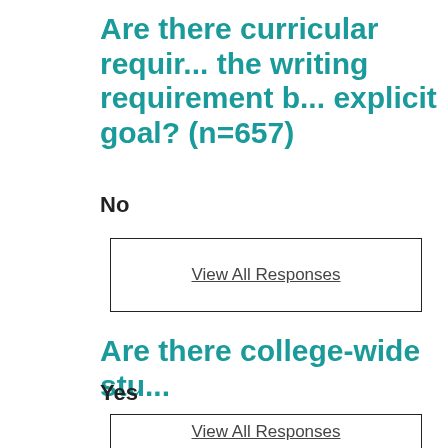Are there curricular requirements for the writing requirement b... explicit goal? (n=657)
No
View All Responses
Are there college-wide stu...
Yes
View All Responses